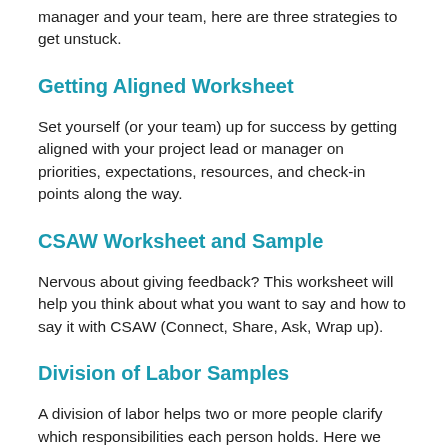manager and your team, here are three strategies to get unstuck.
Getting Aligned Worksheet
Set yourself (or your team) up for success by getting aligned with your project lead or manager on priorities, expectations, resources, and check-in points along the way.
CSAW Worksheet and Sample
Nervous about giving feedback? This worksheet will help you think about what you want to say and how to say it with CSAW (Connect, Share, Ask, Wrap up).
Division of Labor Samples
A division of labor helps two or more people clarify which responsibilities each person holds. Here we share two samples.